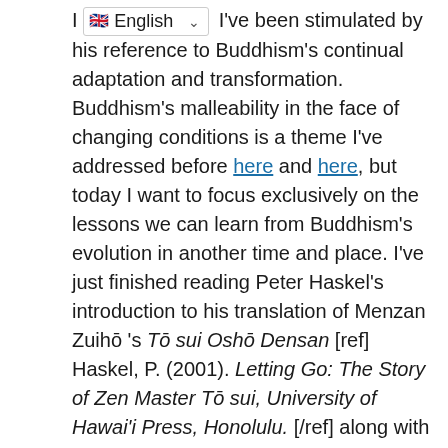I [English dropdown] I've been stimulated by his reference to Buddhism's continual adaptation and transformation. Buddhism's malleability in the face of changing conditions is a theme I've addressed before here and here, but today I want to focus exclusively on the lessons we can learn from Buddhism's evolution in another time and place. I've just finished reading Peter Haskel's introduction to his translation of Menzan Zuihō's Tōsui Oshō Densan [ref] Haskel, P. (2001). Letting Go: The Story of Zen Master Tōsui, University of Hawai'i Press, Honolulu. [/ref] along with David Rigg's biography of Menzan. [ref] Riggs, D.(2004). The Life of Menzan Zuihō, Founder of Dōgen Zen, Japan Review,16, 67-100. [/ref] Both of these works explore Japanese Zen's decline and rebirth during the Tokugawa shogunate (1600-1868), a topic I'm just beginning to gain acquaintance with. Everything in this post is gleaned from my reading of Haskel and Riggs, and I apologize in